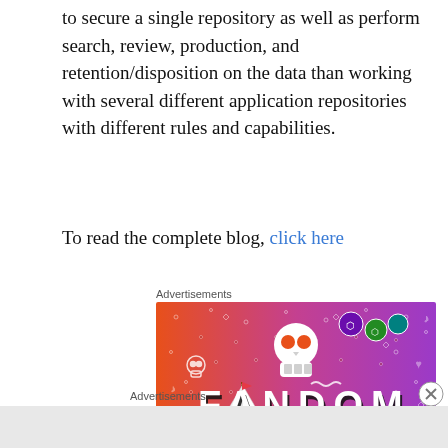to secure a single repository as well as perform search, review, production, and retention/disposition on the data than working with several different application repositories with different rules and capabilities.
To read the complete blog, click here
Advertisements
[Figure (illustration): Fandom On advertisement banner with orange-to-purple gradient background, white illustrated icons (skull, music notes, stars, dice, arrows, hearts), a cartoon sailboat sticker on the left, and bold text reading FANDOM ON in black and white letters]
Advertisements